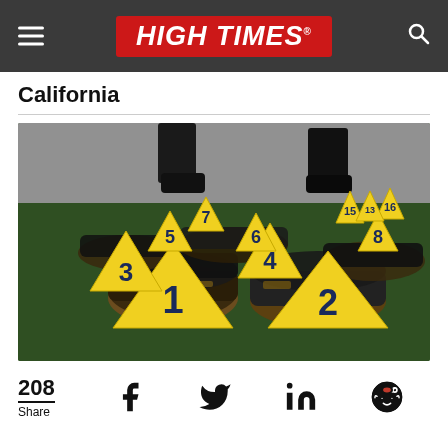HIGH TIMES
California
[Figure (photo): Photo of numbered yellow evidence markers (1-8, 15, 16) placed next to packages wrapped in black plastic and brown tape, laid out on a green surface, with black boots visible in the background — a drug seizure evidence display.]
208 Share
Social share icons: Facebook, Twitter, LinkedIn, Reddit